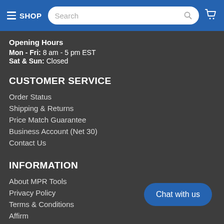SHOP | Search | Cart
Opening Hours
Mon - Fri: 8 am - 5 pm EST
Sat & Sun: Closed
CUSTOMER SERVICE
Order Status
Shipping & Returns
Price Match Guarantee
Business Account (Net 30)
Contact Us
INFORMATION
About MPR Tools
Privacy Policy
Terms & Conditions
Affirm
Chat with us